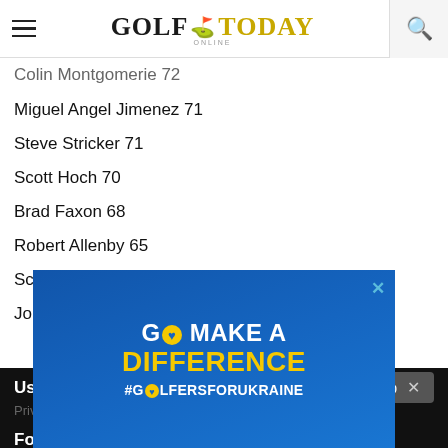GOLF TODAY
Colin Montgomerie 72
Miguel Angel Jimenez 71
Steve Stricker 71
Scott Hoch 70
Brad Faxon 68
Robert Allenby 65
Scott Verplank 65
John Cook 62
Useful links
Privacy
Follow
[Figure (illustration): Advertisement banner: GO MAKE A DIFFERENCE #GOLFERSFORUKRAINE on blue background with yellow heart icon]